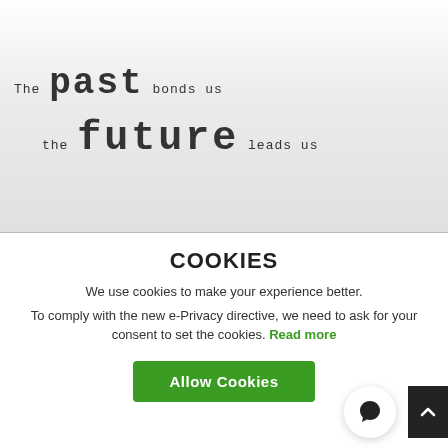[Figure (illustration): Hero image with typewriter-style text reading 'The past bonds us / the future leads us' on a light gray background, with varying font sizes for emphasis.]
COOKIES
We use cookies to make your experience better.
To comply with the new e-Privacy directive, we need to ask for your consent to set the cookies. Read more